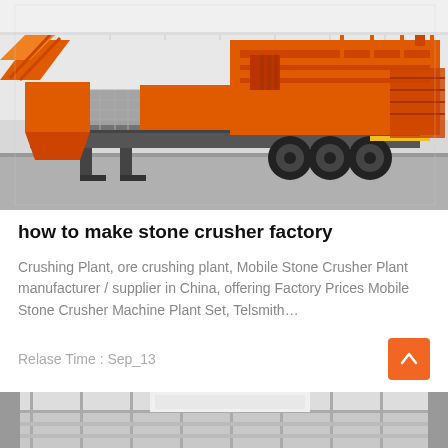[Figure (photo): A large orange mobile stone crusher plant on a flatbed trailer, photographed outdoors in an industrial yard. The machine features conveyor belts, orange metalwork, grey steel frame, and large black tires.]
how to make stone crusher factory
Crushing Plant, ore crushing plant, Mobile Stone Crusher Plant manufacturer / supplier in China, offering Factory Prices Mobile Stone Crusher Machine Plant Set, Telsmith…
Relase Time : Sep_13
[Figure (photo): Partial view of another industrial facility or building, showing corrugated metal walls and structural elements, grey and white tones.]